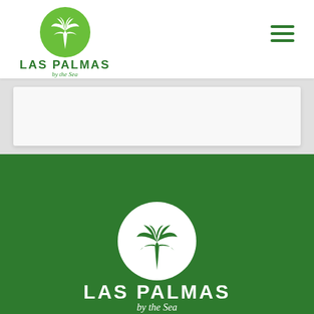[Figure (logo): Las Palmas by the Sea logo: green circle with white palm tree silhouette, text LAS PALMAS in bold green uppercase, 'by the Sea' in green italic script below]
[Figure (logo): Hamburger menu icon: three horizontal green lines stacked vertically]
[Figure (logo): Las Palmas by the Sea footer logo: white circle with white palm tree silhouette on dark green background, text LAS PALMAS in bold white uppercase, 'by the Sea' in white italic script below]